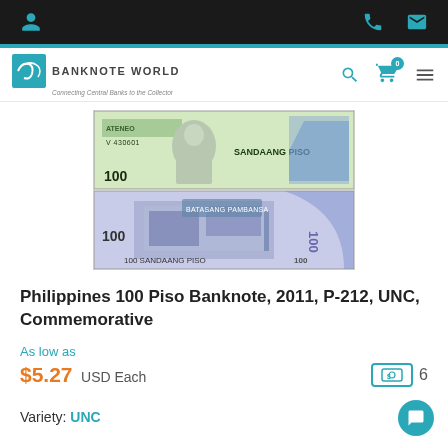BANKNOTE WORLD — Connecting Central Banks to the Collector
[Figure (photo): Philippines 100 Piso banknote front and back. Front shows portrait of a man in suit with serial number V 430601, text SANDAANG PISO and 100. Back shows Batasang Pambansa building complex with text 100 SANDAANG PISO.]
Philippines 100 Piso Banknote, 2011, P-212, UNC, Commemorative
As low as
$5.27 USD Each  6
Variety: UNC